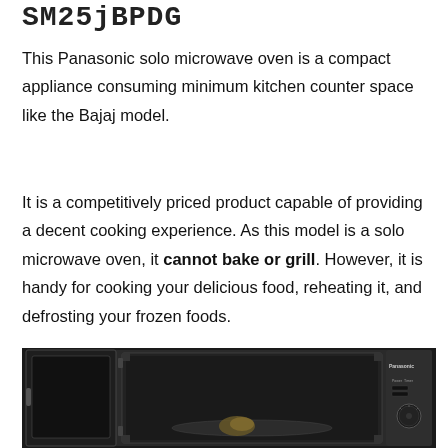SM25jBPDG
This Panasonic solo microwave oven is a compact appliance consuming minimum kitchen counter space like the Bajaj model.
It is a competitively priced product capable of providing a decent cooking experience. As this model is a solo microwave oven, it cannot bake or grill. However, it is handy for cooking your delicious food, reheating it, and defrosting your frozen foods.
[Figure (photo): Photo of a Panasonic black solo microwave oven with its door open, showing the interior cavity and control panel on the right side with a Panasonic logo and dial knob.]